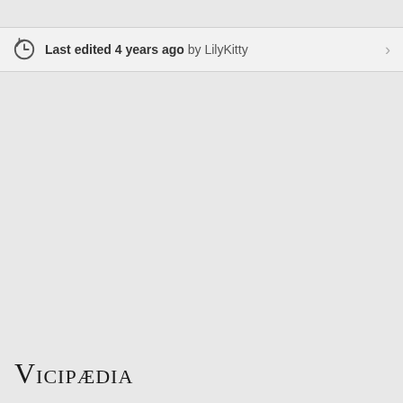Last edited 4 years ago by LilyKitty
Vicipædia